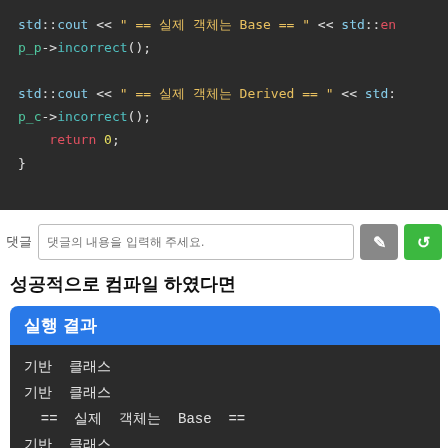[Figure (screenshot): Dark-themed C++ code block showing std::cout statements with Korean comments, p_p->incorrect(), p_c->incorrect(), return 0, and closing brace]
댓글 내용을 입력해 주세요.
성공적으로 컴파일 하였다면
실행 결과
기반 클래스
기반 클래스
  == 실제 객체는 Base ==
기반 클래스
  == 실제 객체는 Derived ==
파생 클래스